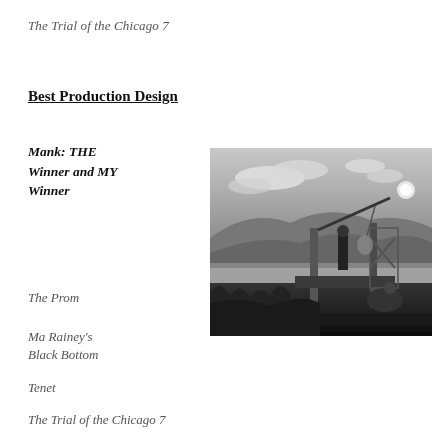The Trial of the Chicago 7
Best Production Design
Mank: THE Winner and MY Winner
[Figure (photo): Black and white film still showing a figure standing on a wooden platform or raft with a crane/boom arm overhead, against a cloudy sky and hilly landscape in the background. Another figure crouches at lower right. The image appears to be from the film Mank.]
The Prom
Ma Rainey's Black Bottom
Tenet
The Trial of the Chicago 7